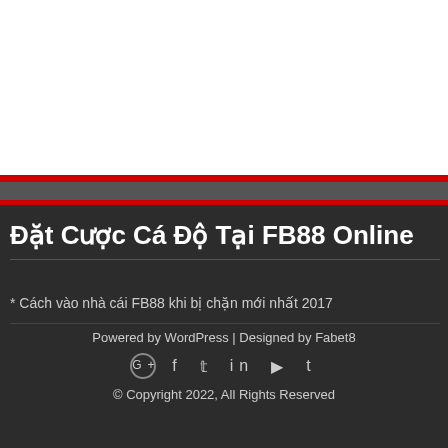Đặt Cược Cá Độ Tại FB88 Online
* Cách vào nhà cái FB88 khi bị chặn mới nhất 2017
Powered by WordPress | Designed by Fabet8
© Copyright 2022, All Rights Reserved